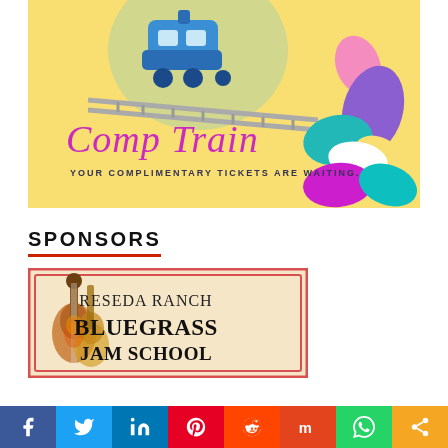[Figure (illustration): Comp Train banner: yellow background with blue cartoon train, colorful abstract blobs, cursive text 'Comp Train' in purple/magenta, subtitle 'YOUR COMPLIMENTARY TICKETS ARE WAITING.' in small caps]
SPONSORS
[Figure (logo): Reseda Ranch Bluegrass Jam School logo with fiddle and guitar illustrations on vintage-style banner]
[Figure (infographic): Social sharing bar with icons: Facebook (blue), Twitter (light blue), LinkedIn (blue), Pinterest (red), Reddit (orange-red), Mix (red-orange), WhatsApp (green), Share (orange)]